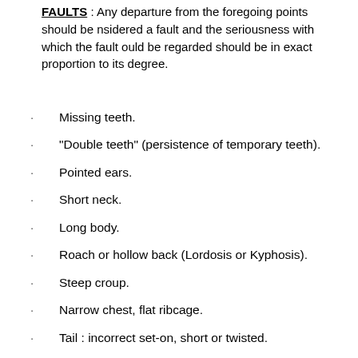FAULTS : Any departure from the foregoing points should be nsidered a fault and the seriousness with which the fault ould be regarded should be in exact proportion to its degree.
Missing teeth.
“Double teeth” (persistence of temporary teeth).
Pointed ears.
Short neck.
Long body.
Roach or hollow back (Lordosis or Kyphosis).
Steep croup.
Narrow chest, flat ribcage.
Tail : incorrect set-on, short or twisted.
Short limbs.
Out at elbow.